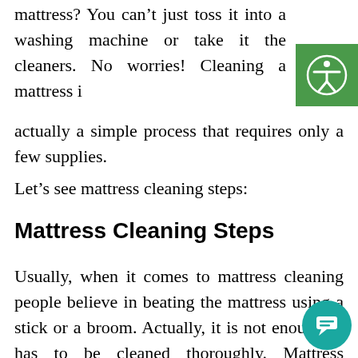mattress? You can't just toss it into a washing machine or take it the cleaners. No worries! Cleaning a mattress is actually a simple process that requires only a few supplies.
Let's see mattress cleaning steps:
Mattress Cleaning Steps
Usually, when it comes to mattress cleaning people believe in beating the mattress using a stick or a broom. Actually, it is not enough; it has to be cleaned thoroughly. Mattress cleaning includes many tasks such as vacuuming,